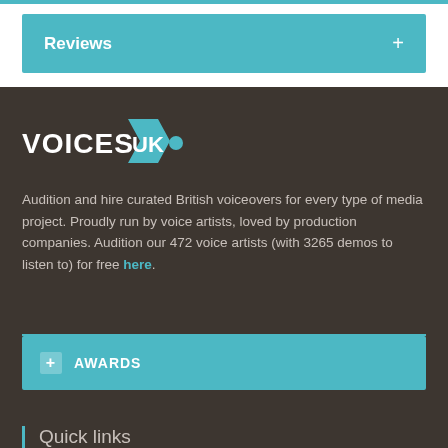Reviews +
[Figure (logo): VoicesUK logo with teal arrow and dot]
Audition and hire curated British voiceovers for every type of media project. Proudly run by voice artists, loved by production companies. Audition our 472 voice artists (with 3265 demos to listen to) for free here.
+ AWARDS
Quick links